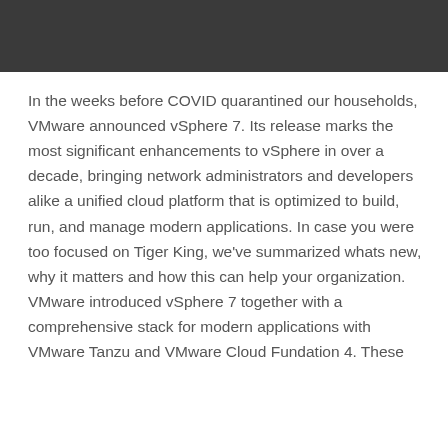In the weeks before COVID quarantined our households, VMware announced vSphere 7. Its release marks the most significant enhancements to vSphere in over a decade, bringing network administrators and developers alike a unified cloud platform that is optimized to build, run, and manage modern applications. In case you were too focused on Tiger King, we've summarized whats new, why it matters and how this can help your organization.
VMware introduced vSphere 7 together with a comprehensive stack for modern applications with VMware Tanzu and VMware Cloud Fundation 4. These